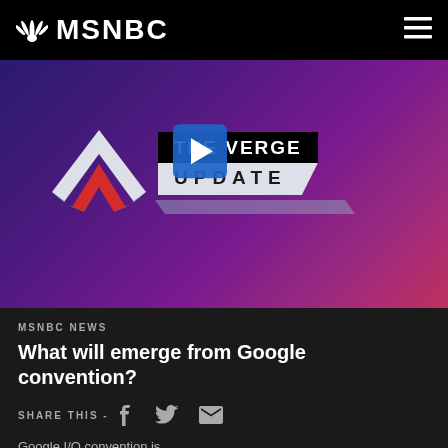MSNBC
[Figure (screenshot): The Verge Update video thumbnail with stylized V logo on purple/magenta gradient background with play button overlay]
MSNBC NEWS
What will emerge from Google convention?
SHARE THIS -
Google I/O convention is...